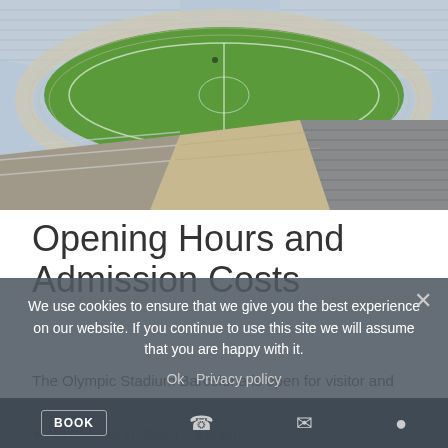[Figure (photo): Aerial view of Olympic Stadium Barcelona showing the green football pitch, blue running track, and stadium seating from an elevated angle]
Opening Hours and Admission Costs
The Olympic Stadium Barcelona is open for visitor and
> In summer 10.00am – 8.00pm
We use cookies to ensure that we give you the best experience on our website. If you continue to use this site we will assume that you are happy with it.
Ok  Privacy policy